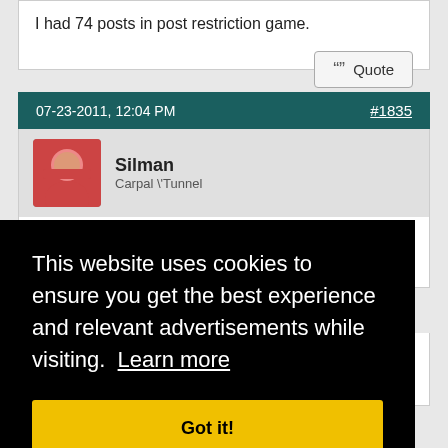I had 74 posts in post restriction game.
07-23-2011, 12:04 PM
#1835
Silman
Carpal \'Tunnel
(won as last wolf standing in that one)
ote
#1836
This website uses cookies to ensure you get the best experience and relevant advertisements while visiting.  Learn more
Got it!
tould
be god's gift to wolfing
and then call me a wolf for "wolf slips" like voting a villager